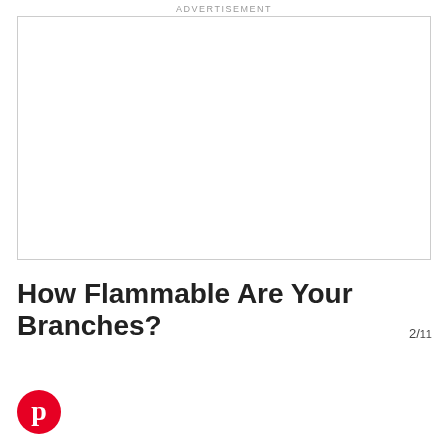ADVERTISEMENT
[Figure (other): Empty advertisement placeholder box with a light gray border]
How Flammable Are Your Branches?
2/11
[Figure (logo): Pinterest logo — white P on a red circle]